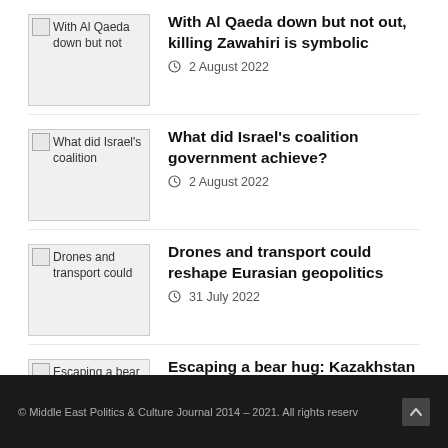With Al Qaeda down but not out, killing Zawahiri is symbolic · 2 August 2022
What did Israel's coalition government achieve? · 2 August 2022
Drones and transport could reshape Eurasian geopolitics · 31 July 2022
Escaping a bear hug: Kazakhstan seeks closer ties to US and Europe · 27 July 2022
© Middle East Politics & Culture Journal 2014 – 2021. All rights reserv